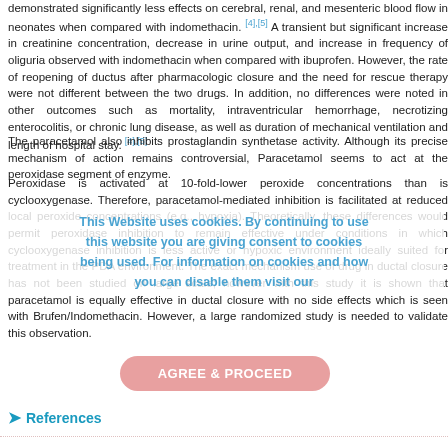demonstrated significantly less effects on cerebral, renal, and mesenteric blood flow in neonates when compared with indomethacin. [4],[5] A transient but significant increase in creatinine concentration, decrease in urine output, and increase in frequency of oliguria observed with indomethacin when compared with ibuprofen. However, the rate of reopening of ductus after pharmacologic closure and the need for rescue therapy were not different between two drugs. In addition, no differences were noted in other outcomes such as mortality, intraventricular hemorrhage, necrotizing enterocolitis, or chronic lung disease, as well as duration of mechanical ventilation and length of hospital stay. [4],[5]
The paracetamol also inhibits prostaglandin synthetase activity. Although its precise mechanism of action remains controversial, Paracetamol seems to act at the peroxidase segment of enzyme.
Peroxidase is activated at 10-fold-lower peroxide concentrations than is cyclooxygenase. Therefore, paracetamol-mediated inhibition is facilitated at reduced local peroxide concentrations (e.g., hypoxia). Theoretically, these differences would permit peroxidase inhibition to remain effective under conditions in which cyclooxygenase inhibition is less active or hypoxic environment ideally suited for treatment in the PDA environment. The exact mechanism use of drug in ductal closure has not been studied on large scale; however with this study it is shown that paracetamol is equally effective in ductal closure with no side effects which is seen with Brufen/Indomethacin. However, a large randomized study is needed to validate this observation.
[Figure (other): Cookie consent overlay with text: 'This Website uses cookies. By continuing to use this website you are giving consent to cookies being used. For information on cookies and how you can disable them visit our']
[Figure (other): Agree & Proceed button (pink/salmon rounded rectangle)]
References